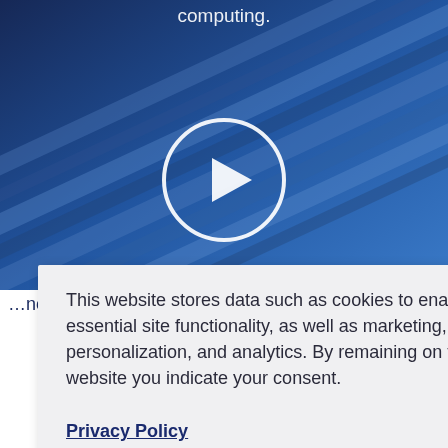[Figure (screenshot): Blue background with diagonal metallic/industrial stripes representing computing hardware]
computing.
[Figure (other): Video play button — white circle outline with white triangle play icon in center]
…innovation,
…ing
…e powerful
…ere there are
This website stores data such as cookies to enable essential site functionality, as well as marketing, personalization, and analytics. By remaining on this website you indicate your consent.
Privacy Policy